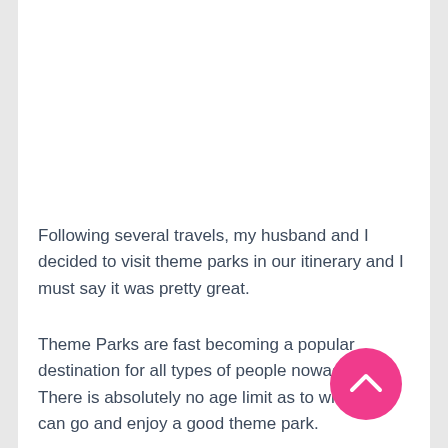Following several travels, my husband and I decided to visit theme parks in our itinerary and I must say it was pretty great.
Theme Parks are fast becoming a popular destination for all types of people nowadays. There is absolutely no age limit as to when you can go and enjoy a good theme park.
[Figure (other): Pink circular scroll-to-top button with upward chevron arrow icon]